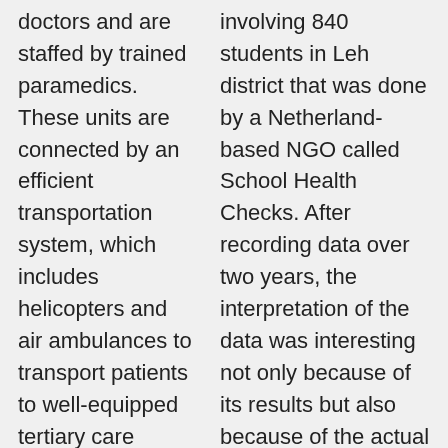doctors and are staffed by trained paramedics. These units are connected by an efficient transportation system, which includes helicopters and air ambulances to transport patients to well-equipped tertiary care centres. Another approach is to use commercial aircrafts for patient evacuation. I am told that every flight from places such as Port Blair has nine seats reserved for patients at a nominal cost. Such a system would benefit people who cannot afford
involving 840 students in Leh district that was done by a Netherland-based NGO called School Health Checks. After recording data over two years, the interpretation of the data was interesting not only because of its results but also because of the actual observation. This study assessed haemoglobin through spectrography (Hemocue) using blood drawn from a finger prick. When someone had very severe anaemia say a haemoglobin level less than 5.5 gm per decilitre),